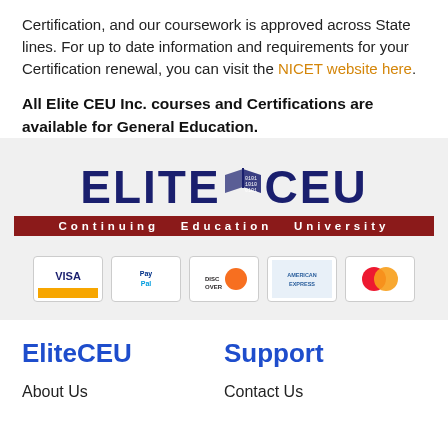Certification, and our coursework is approved across State lines. For up to date information and requirements for your Certification renewal, you can visit the NICET website here.
All Elite CEU Inc. courses and Certifications are available for General Education.
[Figure (logo): Elite CEU Continuing Education University logo with dark blue text and dark red banner]
[Figure (illustration): Payment method icons: Visa, PayPal, Discover, American Express, MasterCard]
EliteCEU
Support
About Us
Contact Us